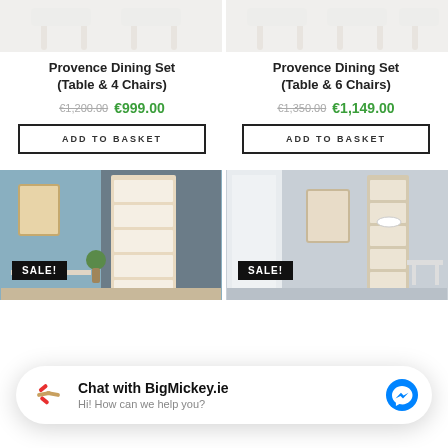[Figure (photo): Top portion of white dining chair/table set product photo, left product]
[Figure (photo): Top portion of white dining chair/table set product photo, right product]
Provence Dining Set (Table & 4 Chairs)
Provence Dining Set (Table & 6 Chairs)
€1,200.00 €999.00
€1,350.00 €1,149.00
ADD TO BASKET
ADD TO BASKET
[Figure (photo): Bookcase/shelving unit in blue-grey room interior with SALE! badge, left]
[Figure (photo): Bookcase/shelving unit in light grey room interior with SALE! badge, right]
Chat with BigMickey.ie
Hi! How can we help you?